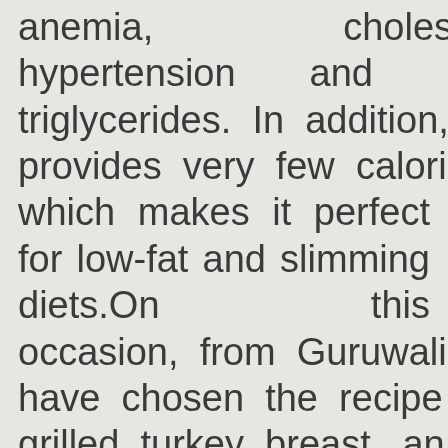anemia, cholesterol, hypertension and high triglycerides. In addition, it provides very few calories, which makes it perfect for low-fat and slimming diets.On this occasion, from Guruwalik we have chosen the recipe for grilled turkey breast, an easy and delicious recipe that, accompanied by a light garnish, allows us to obtain a very healthy dish. We are going to start eating healthy and what better way than with this